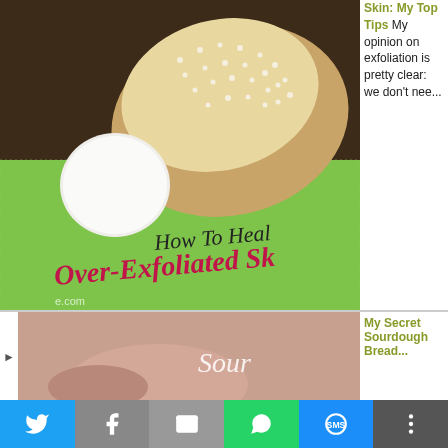[Figure (photo): Exfoliation brushes and spa items on a green towel with cursive text overlay 'How To Heal Over-Exfoliated Skin']
Skin: My Top Tips My opinion on exfoliation is pretty clear: we don't nee...
[Figure (photo): A partial second blog post preview image with cursive 'Sour...' text overlay, pink/skin-tone background]
My Secret Sourdough Bread...
This website uses cookies to improve your experience. We'll assume
[Figure (infographic): Social sharing bar with Twitter, Facebook, Email, WhatsApp, SMS, and More buttons]